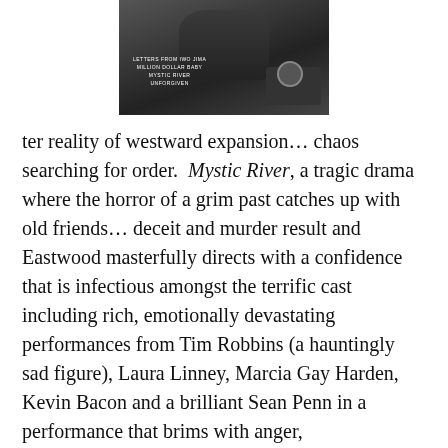[Figure (photo): A person holding or operating a professional film camera, with dark/shadowed background. Overlay text lists film titles including 'Letters from Iwo Jima', 'Million Dollar Baby', 'Mystic River', 'Unforgiven'.]
ter reality of westward expansion… chaos searching for order.  Mystic River, a tragic drama where the horror of a grim past catches up with old friends… deceit and murder result and Eastwood masterfully directs with a confidence that is infectious amongst the terrific cast including rich, emotionally devastating performances from Tim Robbins (a hauntingly sad figure), Laura Linney, Marcia Gay Harden, Kevin Bacon and a brilliant Sean Penn in a performance that brims with anger, disillusionment and frustration.
[Figure (screenshot): Advertisement banner: Smoothie King logo, 'Ashburn OPEN 8AM–8PM', '20035 Ashbrook Commons Pl…', navigation arrow icon, play and close icons at bottom.]